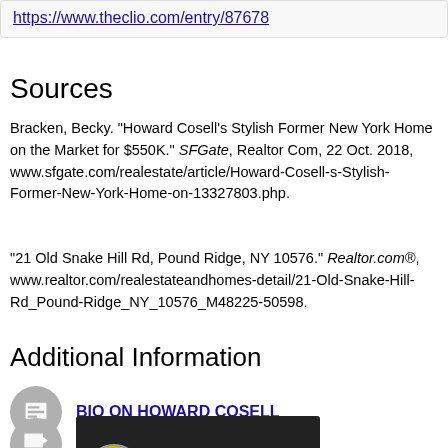https://www.theclio.com/entry/87678
Sources
Bracken, Becky. "Howard Cosell's Stylish Former New York Home on the Market for $550K." SFGate, Realtor Com, 22 Oct. 2018, www.sfgate.com/realestate/article/Howard-Cosell-s-Stylish-Former-New-York-Home-on-13327803.php.
"21 Old Snake Hill Rd, Pound Ridge, NY 10576." Realtor.com®, www.realtor.com/realestateandhomes-detail/21-Old-Snake-Hill-Rd_Pound-Ridge_NY_10576_M48225-50598.
Additional Information
BIO ON HOWARD COSELL
[Figure (screenshot): YouTube video thumbnail showing '1974 Howard Cosell At Lar...' with a circular avatar image and three-dot menu icon]